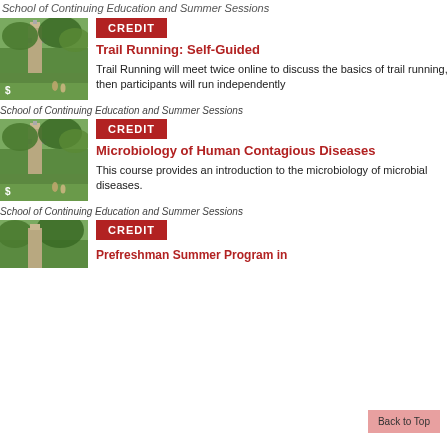School of Continuing Education and Summer Sessions
[Figure (photo): Campus building with clock tower surrounded by green trees]
CREDIT
Trail Running: Self-Guided
Trail Running will meet twice online to discuss the basics of trail running, then participants will run independently
School of Continuing Education and Summer Sessions
[Figure (photo): Campus building with clock tower surrounded by green trees]
CREDIT
Microbiology of Human Contagious Diseases
This course provides an introduction to the microbiology of microbial diseases.
School of Continuing Education and Summer Sessions
[Figure (photo): Campus building with clock tower surrounded by green trees (partial)]
CREDIT
Prefreshman Summer Program in...